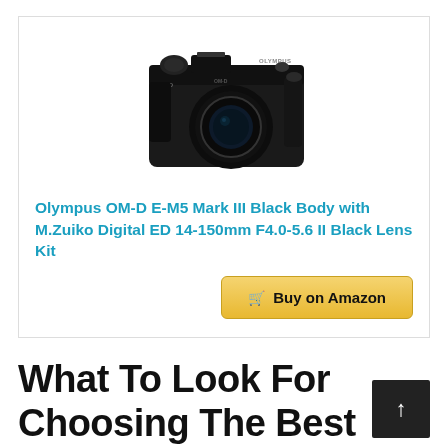[Figure (photo): Olympus OM-D E-M5 Mark III black mirrorless camera with lens, shown from front]
Olympus OM-D E-M5 Mark III Black Body with M.Zuiko Digital ED 14-150mm F4.0-5.6 II Black Lens Kit
[Figure (other): Buy on Amazon button with shopping cart icon]
What To Look For Choosing The Best Smartphone Camera Vs Dslr